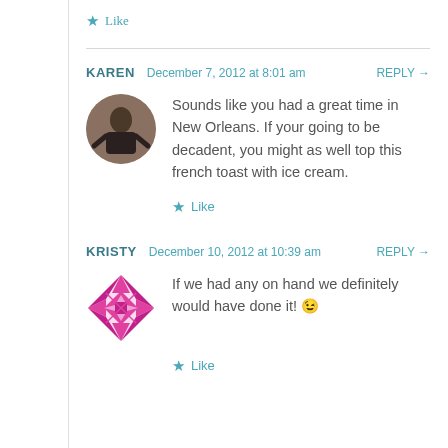Like
KAREN  December 7, 2012 at 8:01 am  REPLY →
Sounds like you had a great time in New Orleans. If your going to be decadent, you might as well top this french toast with ice cream.
Like
KRISTY  December 10, 2012 at 10:39 am  REPLY →
If we had any on hand we definitely would have done it! 😉
Like